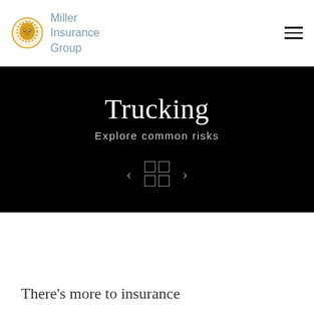[Figure (logo): Miller Insurance Group logo with lion emblem and blue-grey text]
Trucking
Explore common risks
[Figure (other): Navigation controls: left arrow, 2x2 grid icon, right arrow]
There's more to insurance